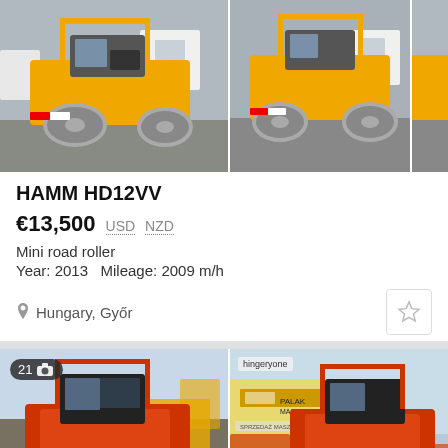[Figure (photo): Two yellow and black HAMM HD12VV mini road rollers in a vehicle lot, side by side. Left image shows front-left view, right image shows front-right view. A third partially visible image at the far right edge.]
HAMM HD12VV
€13,500  USD  NZD
Mini road roller
Year: 2013   Mileage: 2009 m/h
Hungary, Győr
[Figure (photo): 21 photos badge. Orange/red HAMM road roller, front-left view, parked in a yard with other yellow machinery in background.]
[Figure (photo): Orange/red HAMM road roller at a machinery dealer yard with sign reading PALAK MASZYNY, front-right view, other equipment visible in background. Advertiser label visible top-left.]